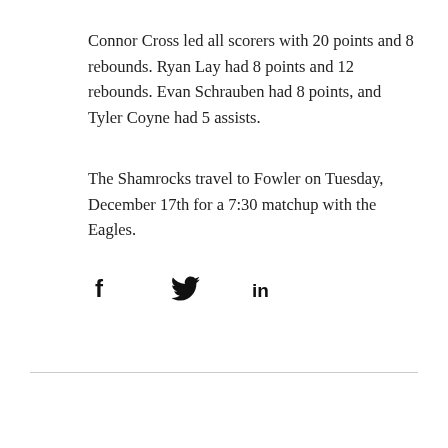Connor Cross led all scorers with 20 points and 8 rebounds. Ryan Lay had 8 points and 12 rebounds. Evan Schrauben had 8 points, and Tyler Coyne had 5 assists.
The Shamrocks travel to Fowler on Tuesday, December 17th for a 7:30 matchup with the Eagles.
[Figure (other): Social media share icons: Facebook (f), Twitter (bird), LinkedIn (in)]